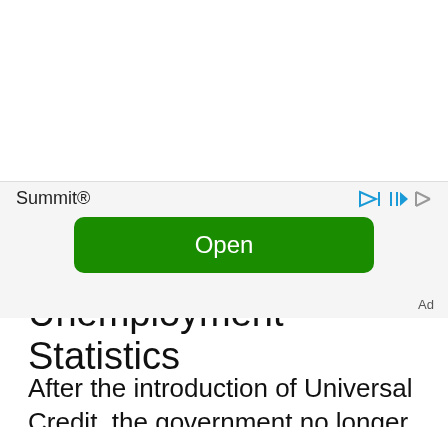Stokeham Benefits & Unemployment Statistics
After the introduction of Universal Credit, the government no longer publishes unemployment figures as a percentage of
Summit®
Open
Ad